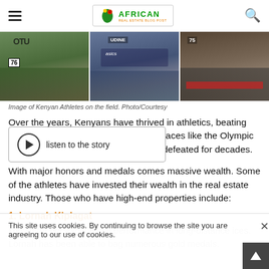African Real Estate Blog Post
[Figure (photo): Three Kenyan athletes on the field, showing their competition shorts/bibs. Left panel: green shorts with bib number 76, OTU bib visible. Middle panel: athlete with ASICS gear at UDINE event. Right panel: athlete in dark shorts.]
Image of Kenyan Athletes on the field. Photo/Courtesy
Over the years, Kenyans have thrived in athletics, beating nd for some races like the Olympic remained undefeated for decades.
listen to the story
With major honors and medals comes massive wealth. Some of the athletes have invested their wealth in the real estate industry. Those who have high-end properties include:
1. Lornah Kiplagat
known for her exceptional performance in long-distance ices. Lornah has been able to bag numerous gold medals.
This site uses cookies. By continuing to browse the site you are agreeing to our use of cookies.